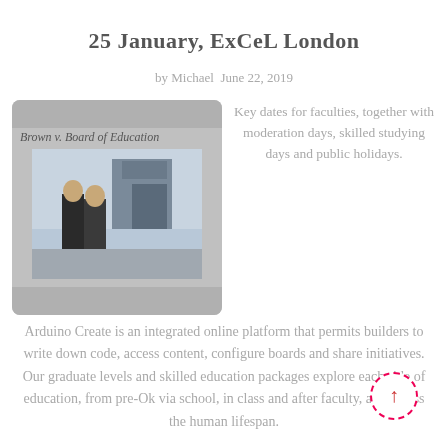25 January, ExCeL London
by Michael  June 22, 2019
[Figure (photo): Screenshot/thumbnail showing 'Brown v. Board of Education' with a photo of two people standing in front of a mural of marchers]
Key dates for faculties, together with moderation days, skilled studying days and public holidays. Arduino Create is an integrated online platform that permits builders to write down code, access content, configure boards and share initiatives. Our graduate levels and skilled education packages explore each side of education, from pre-Ok via school, in class and after faculty, and across the human lifespan.